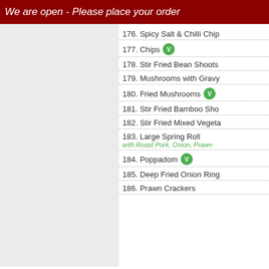We are open - Please place your order
176. Spicy Salt & Chilli Chip
177. Chips [V]
178. Stir Fried Bean Shoots
179. Mushrooms with Gravy
180. Fried Mushrooms [V]
181. Stir Fried Bamboo Sho
182. Stir Fried Mixed Vegeta
183. Large Spring Roll with Roast Pork, Onion, Prawn
184. Poppadom [V]
185. Deep Fried Onion Ring
186. Prawn Crackers